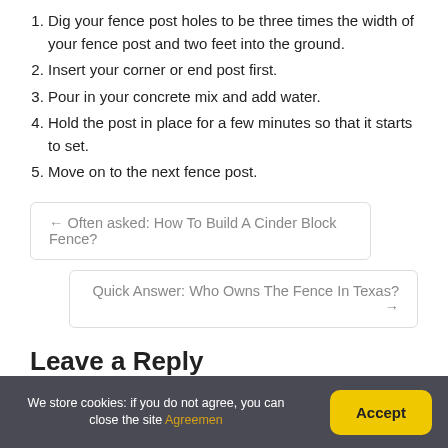1. Dig your fence post holes to be three times the width of your fence post and two feet into the ground.
2. Insert your corner or end post first.
3. Pour in your concrete mix and add water.
4. Hold the post in place for a few minutes so that it starts to set.
5. Move on to the next fence post.
← Often asked: How To Build A Cinder Block Fence?
Quick Answer: Who Owns The Fence In Texas? →
Leave a Reply
We store cookies: if you do not agree, you can close the site Agreemen